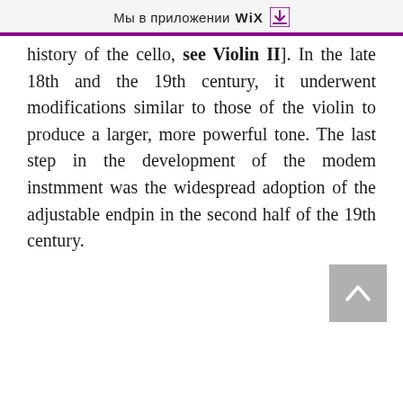Мы в приложении WiX ↓
history of the cello, see Violin II]. In the late 18th and the 19th century, it underwent modifications similar to those of the violin to produce a larger, more powerful tone. The last step in the development of the modem instmment was the widespread adoption of the adjustable endpin in the second half of the 19th century.